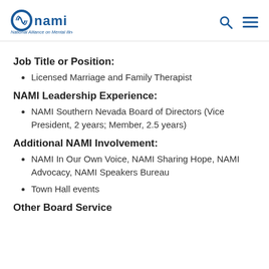NAMI - National Alliance on Mental Illness
Job Title or Position:
Licensed Marriage and Family Therapist
NAMI Leadership Experience:
NAMI Southern Nevada Board of Directors (Vice President, 2 years; Member, 2.5 years)
Additional NAMI Involvement:
NAMI In Our Own Voice, NAMI Sharing Hope, NAMI Advocacy, NAMI Speakers Bureau
Town Hall events
Other Board Service